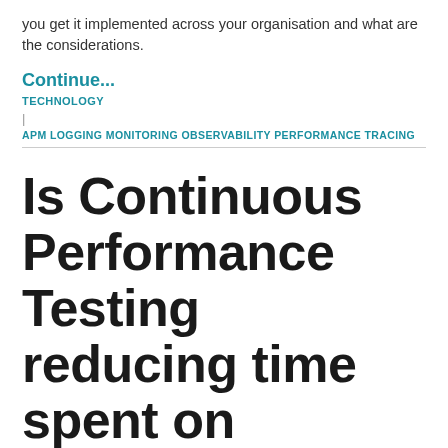you get it implemented across your organisation and what are the considerations.
Continue...
TECHNOLOGY
|
APM LOGGING MONITORING OBSERVABILITY PERFORMANCE TRACING
Is Continuous Performance Testing reducing time spent on analysis?